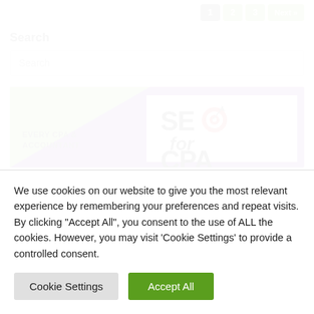1  2  3  Next »
Search
[Figure (illustration): SEO for CPA advertisement banner with purple and green background, text reading EVERY CPA & ACCOUNTANT and SEO for CPA with a target icon]
We use cookies on our website to give you the most relevant experience by remembering your preferences and repeat visits. By clicking "Accept All", you consent to the use of ALL the cookies. However, you may visit 'Cookie Settings' to provide a controlled consent.
Cookie Settings   Accept All